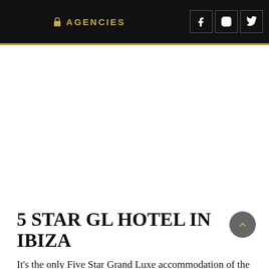AGENCIES
5 STAR GL HOTEL IN IBIZA
It's the only Five Star Grand Luxe accommodation of the island. Since its opening eight years ago,